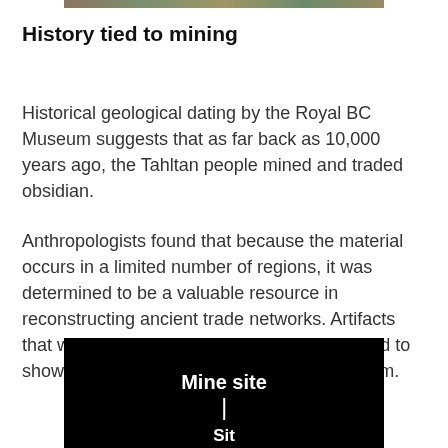[Figure (photo): Partial top image showing landscape/terrain, cropped at the top of the page]
History tied to mining
Historical geological dating by the Royal BC Museum suggests that as far back as 10,000 years ago, the Tahltan people mined and traded obsidian.
Anthropologists found that because the material occurs in a limited number of regions, it was determined to be a valuable resource in reconstructing ancient trade networks. Artifacts that were crafted from obsidian were analyzed to show which quarry the raw material came from.
[Figure (photo): Dark/black background image showing a map or diagram with 'Mine site' label and a vertical line indicator, with partial text at the bottom reading 'Site' or similar]